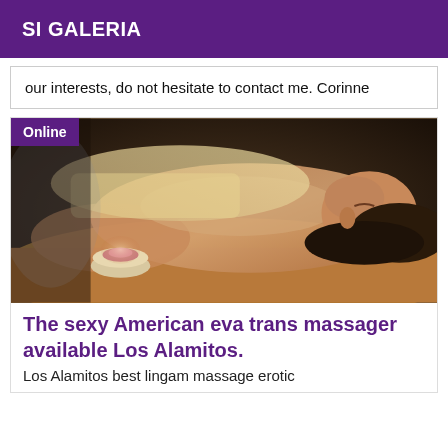SI GALERIA
our interests, do not hesitate to contact me. Corinne
[Figure (photo): Woman lying on a massage table receiving a massage, with a candle in a small bowl nearby. Online badge in top-left corner.]
The sexy American eva trans massager available Los Alamitos.
Los Alamitos best lingam massage erotic